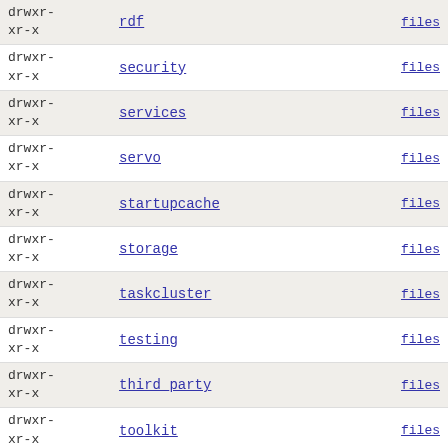| permissions | name | files |
| --- | --- | --- |
| drwxr-xr-x | rdf | files |
| drwxr-xr-x | security | files |
| drwxr-xr-x | services | files |
| drwxr-xr-x | servo | files |
| drwxr-xr-x | startupcache | files |
| drwxr-xr-x | storage | files |
| drwxr-xr-x | taskcluster | files |
| drwxr-xr-x | testing | files |
| drwxr-xr-x | third_party | files |
| drwxr-xr-x | toolkit | files |
| drwxr-xr-x | tools | files |
| drwxr-xr-x | uriloader | files |
| drwxr-xr-x | view | files |
| drwxr-xr-x | widget | files |